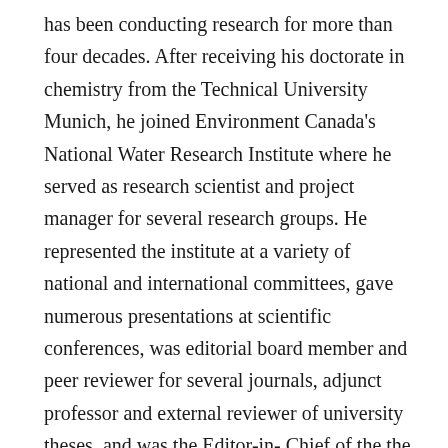has been conducting research for more than four decades. After receiving his doctorate in chemistry from the Technical University Munich, he joined Environment Canada's National Water Research Institute where he served as research scientist and project manager for several research groups. He represented the institute at a variety of national and international committees, gave numerous presentations at scientific conferences, was editorial board member and peer reviewer for several journals, adjunct professor and external reviewer of university theses, and was the Editor-in- Chief of the the Water Quality Research Journal of Canada for nearly ten years. Dr. Kaiser is an author of nearly 300 publications in scientific journals, government and national and international agency reports, books, trade magazines, and newspapers. He has been president of the Intl. Association for Great Lakes Research, and is a recipient of the Intl. QSAR Award. He is currently Director of Research of TerraBase Inc., and is a